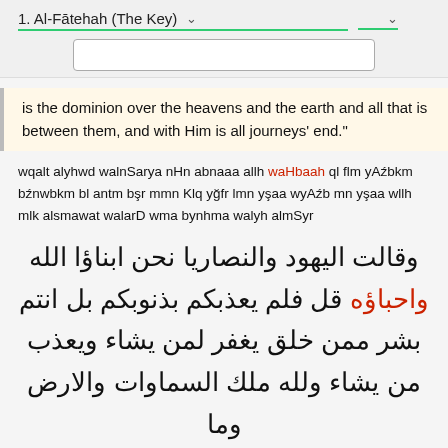1. Al-Fātehah (The Key)
is the dominion over the heavens and the earth and all that is between them, and with Him is all journeys' end."
wqalt alyhwd walnSarya nHn abnaaa allh waHbaah ql flm yAźbkm bźnwbkm bl antm bşr mmn Klq yğfr lmn yşaa wyAźb mn yşaa wllh mlk alsmawat walarD wma bynhma walyh almSyr
وقالت اليهود والنصاريا نحن ابناؤا الله واحباؤه قل فلم يعذبكم بذنوبكم بل انتم بشر ممن خلق يغفر لمن يشاء ويعذب من يشاء ولله ملك السماوات والارض وما